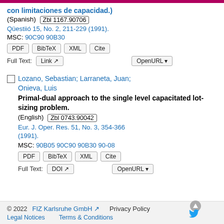con limitaciones de capacidad.) (Spanish) Zbl 1167.90706
Qüestiió 15, No. 2, 211-229 (1991).
MSC: 90C90 90B30
PDF BibTeX XML Cite
Full Text: Link OpenURL
Lozano, Sebastian; Larraneta, Juan; Onieva, Luis
Primal-dual approach to the single level capacitated lot-sizing problem. (English) Zbl 0743.90042
Eur. J. Oper. Res. 51, No. 3, 354-366 (1991).
MSC: 90B05 90C90 90B30 90-08
PDF BibTeX XML Cite
Full Text: DOI OpenURL
© 2022   FIZ Karlsruhe GmbH   Privacy Policy   Legal Notices   Terms & Conditions